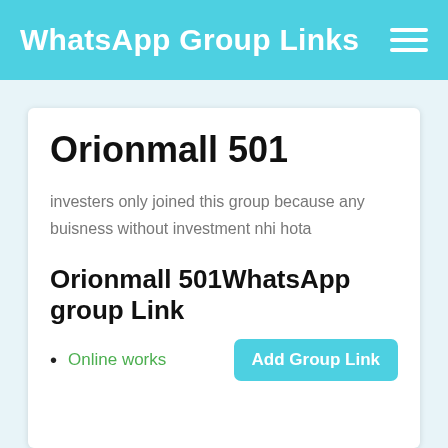WhatsApp Group Links
Orionmall 501
investers only joined this group because any buisness without investment nhi hota
Orionmall 501WhatsApp group Link
Online works